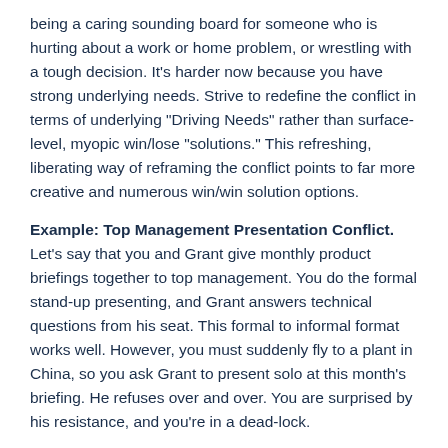being a caring sounding board for someone who is hurting about a work or home problem, or wrestling with a tough decision. It’s harder now because you have strong underlying needs. Strive to redefine the conflict in terms of underlying “Driving Needs” rather than surface-level, myopic win/lose “solutions.” This refreshing, liberating way of reframing the conflict points to far more creative and numerous win/win solution options.
Example: Top Management Presentation Conflict. Let’s say that you and Grant give monthly product briefings together to top management. You do the formal stand-up presenting, and Grant answers technical questions from his seat. This formal to informal format works well. However, you must suddenly fly to a plant in China, so you ask Grant to present solo at this month’s briefing. He refuses over and over. You are surprised by his resistance, and you’re in a dead-lock.
Your Win-Lose Solution: Grant must present alone at the